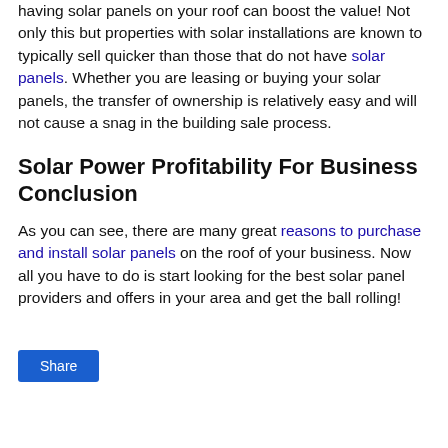having solar panels on your roof can boost the value! Not only this but properties with solar installations are known to typically sell quicker than those that do not have solar panels. Whether you are leasing or buying your solar panels, the transfer of ownership is relatively easy and will not cause a snag in the building sale process.
Solar Power Profitability For Business Conclusion
As you can see, there are many great reasons to purchase and install solar panels on the roof of your business. Now all you have to do is start looking for the best solar panel providers and offers in your area and get the ball rolling!
Share